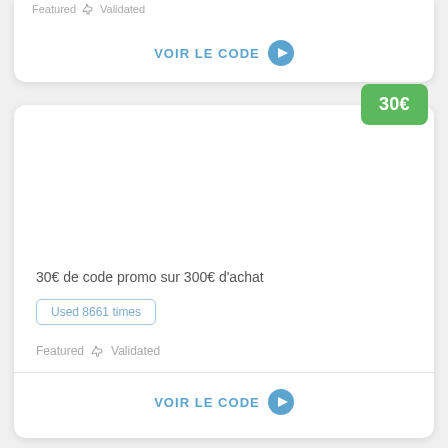Featured  Validated
VOIR LE CODE
30€
30€ de code promo sur 300€ d'achat
Used 8661 times
Featured  Validated
VOIR LE CODE